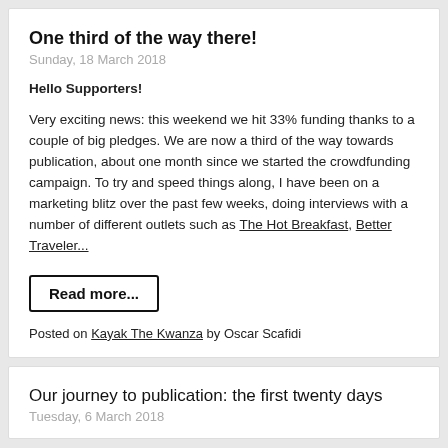One third of the way there!
Sunday, 18 March 2018
Hello Supporters!
Very exciting news: this weekend we hit 33% funding thanks to a couple of big pledges. We are now a third of the way towards publication, about one month since we started the crowdfunding campaign. To try and speed things along, I have been on a marketing blitz over the past few weeks, doing interviews with a number of different outlets such as The Hot Breakfast, Better Traveler...
Read more...
Posted on Kayak The Kwanza by Oscar Scafidi
Our journey to publication: the first twenty days
Tuesday, 6 March 2018